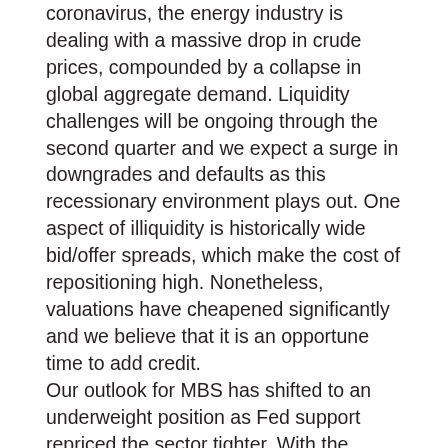coronavirus, the energy industry is dealing with a massive drop in crude prices, compounded by a collapse in global aggregate demand. Liquidity challenges will be ongoing through the second quarter and we expect a surge in downgrades and defaults as this recessionary environment plays out. One aspect of illiquidity is historically wide bid/offer spreads, which make the cost of repositioning high. Nonetheless, valuations have cheapened significantly and we believe that it is an opportune time to add credit.
Our outlook for MBS has shifted to an underweight position as Fed support repriced the sector tighter. With the decrease in interest rates, we expect volatility in prepayments over the next couple of quarters. Our analysis indicates that actual prepayments will initially come in higher than forecasts but virus impacts may cause a slowdown. The sector's relative outperformance vs. credit provides a liquid source to reposition the portfolio as we look to add Corporates. The ABS and Agency CMBS sectors have widened out to attractive levels. We continue to see these sectors as anchor positions